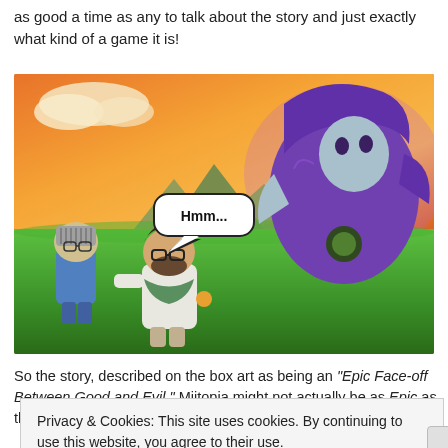as good a time as any to talk about the story and just exactly what kind of a game it is!
[Figure (screenshot): Game screenshot from Miitopia showing two Mii characters (one in knight armor, one in casual clothes) facing a large purple villain character. A speech bubble from the main character says 'Hmm...' The background shows a fantasy landscape with orange sky and green fields.]
So the story, described on the box art as being an "Epic Face-off Between Good and Evil." Miitopia might not actually be as Epic as they description
Privacy & Cookies: This site uses cookies. By continuing to use this website, you agree to their use.
To find out more, including how to control cookies, see here: Cookie Policy